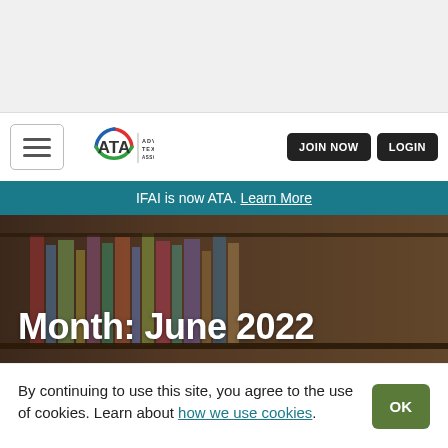[Figure (screenshot): Top gray banner area of a website]
ATA – Advanced Textiles Association | JOIN NOW | LOGIN
IFAI is now ATA. Learn More
Month: June 2022
By continuing to use this site, you agree to the use of cookies. Learn about how we use cookies.